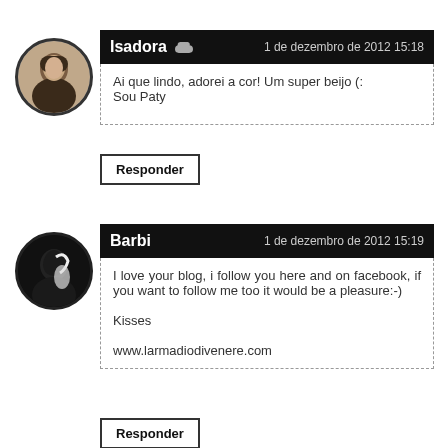[Figure (photo): Circular avatar photo of Isadora, a young woman]
Isadora  ☁  1 de dezembro de 2012 15:18
Ai que lindo, adorei a cor! Um super beijo (:
Sou Paty
Responder
[Figure (photo): Circular avatar photo of Barbi, dark image with white hair highlight]
Barbi  1 de dezembro de 2012 15:19
I love your blog, i follow you here and on facebook, if you want to follow me too it would be a pleasure:-)

Kisses

www.larmadiodivenere.com
Responder